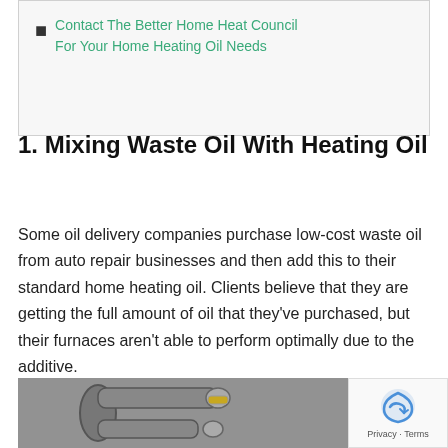Contact The Better Home Heat Council For Your Home Heating Oil Needs
1. Mixing Waste Oil With Heating Oil
Some oil delivery companies purchase low-cost waste oil from auto repair businesses and then add this to their standard home heating oil. Clients believe that they are getting the full amount of oil that they've purchased, but their furnaces aren't able to perform optimally due to the additive.
[Figure (photo): Photo of industrial pipes and fittings]